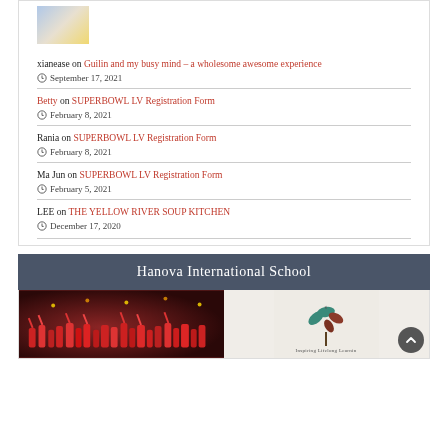[Figure (photo): Thumbnail image with light blue, beige and yellow gradient]
xianease on Guilin and my busy mind – a wholesome awesome experience
September 17, 2021
Betty on SUPERBOWL LV Registration Form
February 8, 2021
Rania on SUPERBOWL LV Registration Form
February 8, 2021
Ma Jun on SUPERBOWL LV Registration Form
February 5, 2021
LEE on THE YELLOW RIVER SOUP KITCHEN
December 17, 2020
Hanova International School
[Figure (photo): Left: crowd of children/people in red festive clothing raising hands. Right: school logo with leaves 'Inspiring Lifelong Learning']